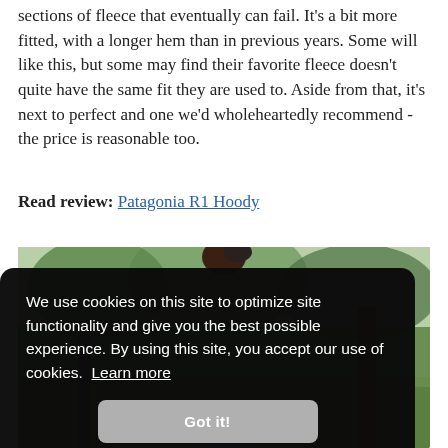sections of fleece that eventually can fail. It's a bit more fitted, with a longer hem than in previous years. Some will like this, but some may find their favorite fleece doesn't quite have the same fit they are used to. Aside from that, it's next to perfect and one we'd wholeheartedly recommend - the price is reasonable too.
Read review: Patagonia R1 Hoody
[Figure (photo): Outdoor photo showing a person in a park or natural setting with trees in the background, partially obscured by a cookie consent banner overlay]
We use cookies on this site to optimize site functionality and give you the best possible experience. By using this site, you accept our use of cookies. Learn more
Got it!